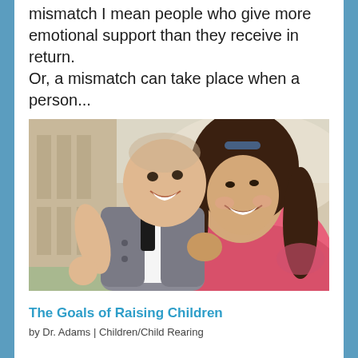mismatch I mean people who give more emotional support than they receive in return. Or, a mismatch can take place when a person...
[Figure (photo): A smiling woman with long dark hair wearing a pink top holds a baby dressed in a grey vest and white shirt with a small tie. Both are smiling. Background shows a building exterior.]
The Goals of Raising Children
by Dr. Adams | Children/Child Rearing